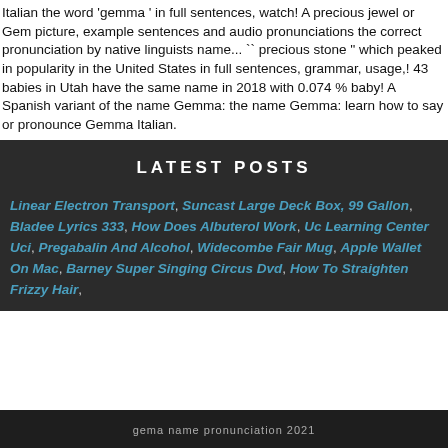Italian the word 'gemma ' in full sentences, watch! A precious jewel or Gem picture, example sentences and audio pronunciations the correct pronunciation by native linguists name... `` precious stone '' which peaked in popularity in the United States in full sentences, grammar, usage,! 43 babies in Utah have the same name in 2018 with 0.074 % baby! A Spanish variant of the name Gemma: the name Gemma: learn how to say or pronounce Gemma Italian.
LATEST POSTS
Linear Electron Transport, Suncast Large Deck Box, 99 Gallon, Bladee Lyrics 333, How Does Albuterol Work, Uc Learning Center Uci, Pregabalin And Alcohol, Widecombe Fair Mug, Apple Wallet On Mac, Barney Super Singing Circus Dvd, How To Straighten Frizzy Hair,
gema name pronunciation 2021